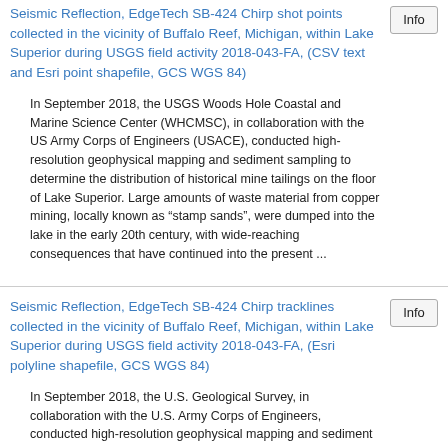Seismic Reflection, EdgeTech SB-424 Chirp shot points collected in the vicinity of Buffalo Reef, Michigan, within Lake Superior during USGS field activity 2018-043-FA, (CSV text and Esri point shapefile, GCS WGS 84)
In September 2018, the USGS Woods Hole Coastal and Marine Science Center (WHCMSC), in collaboration with the US Army Corps of Engineers (USACE), conducted high-resolution geophysical mapping and sediment sampling to determine the distribution of historical mine tailings on the floor of Lake Superior. Large amounts of waste material from copper mining, locally known as “stamp sands”, were dumped into the lake in the early 20th century, with wide-reaching consequences that have continued into the present ...
Seismic Reflection, EdgeTech SB-424 Chirp tracklines collected in the vicinity of Buffalo Reef, Michigan, within Lake Superior during USGS field activity 2018-043-FA, (Esri polyline shapefile, GCS WGS 84)
In September 2018, the U.S. Geological Survey, in collaboration with the U.S. Army Corps of Engineers, conducted high-resolution geophysical mapping and sediment sampling to determine the distribution of historical mine tailings on the floor of Lake Superior. Large amounts of waste material from copper mining, locally known as “stamp sands,” were dumped into the lake in the early 20th century, with wide-reaching consequences that have continued into the present ...